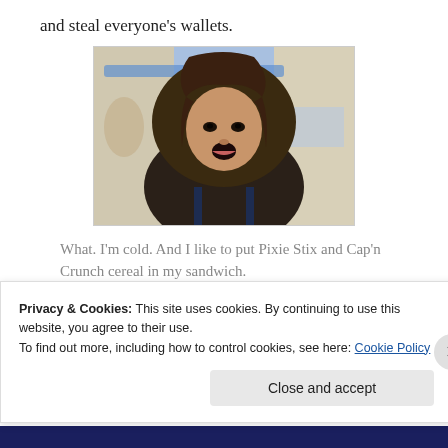and steal everyone's wallets.
[Figure (photo): A person wearing a dark parka with fur-trimmed hood, mouth open in surprise or exclamation, indoors with blurred background lighting]
What. I'm cold. And I like to put Pixie Stix and Cap'n Crunch cereal in my sandwich.
Whatever.
Privacy & Cookies: This site uses cookies. By continuing to use this website, you agree to their use.
To find out more, including how to control cookies, see here: Cookie Policy
Close and accept